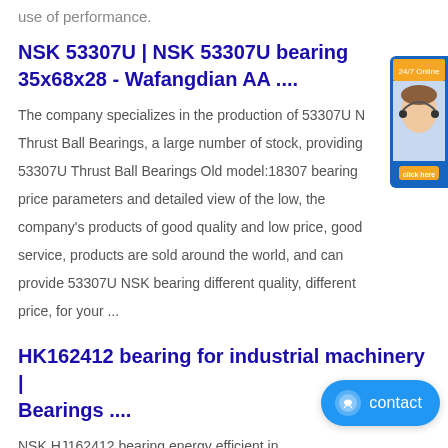use of performance.
NSK 53307U | NSK 53307U bearing 35x68x28 - Wafangdian AA ....
The company specializes in the production of 53307U NSK Thrust Ball Bearings, a large number of stock, providing 53307U Thrust Ball Bearings Old model:18307 bearing price parameters and detailed view of the low, the company's products of good quality and low price, good service, products are sold around the world, and can provide 53307U NSK bearing different quality, different price, for your ...
HK162412 bearing for industrial machinery | Bearings ....
NSK HJ162412 bearing energy efficient in widely used in industrial drive agriculture compressors